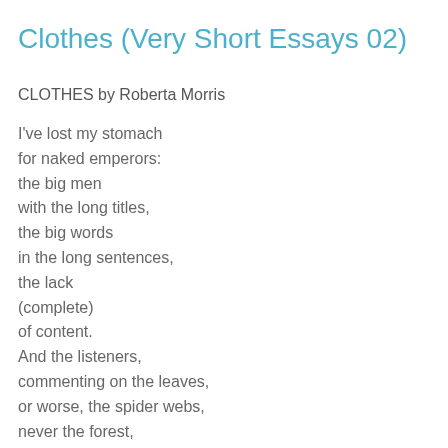Clothes (Very Short Essays 02)
CLOTHES by Roberta Morris
I've lost my stomach
for naked emperors:
the big men
with the long titles,
the big words
in the long sentences,
the lack
(complete)
of content.
And the listeners,
commenting on the leaves,
or worse, the spider webs,
never the forest,
not even the trees.
They are too polite
(too craven?